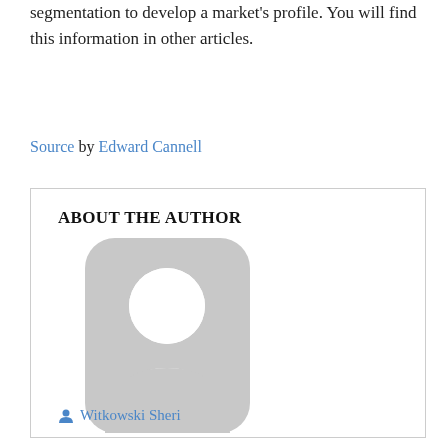segmentation to develop a market's profile. You will find this information in other articles.
Source by Edward Cannell
ABOUT THE AUTHOR
[Figure (illustration): Generic grey avatar/profile placeholder image showing a person silhouette]
Witkowski Sheri